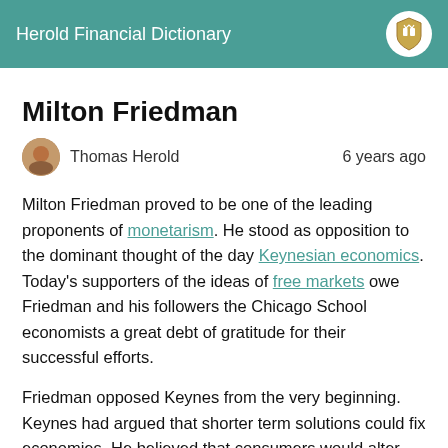Herold Financial Dictionary
Milton Friedman
Thomas Herold   6 years ago
Milton Friedman proved to be one of the leading proponents of monetarism. He stood as opposition to the dominant thought of the day Keynesian economics. Today's supporters of the ideas of free markets owe Friedman and his followers the Chicago School economists a great debt of gratitude for their successful efforts.
Friedman opposed Keynes from the very beginning. Keynes had argued that shorter term solutions could fix economies. He believed that consumers would alter their spending habits if